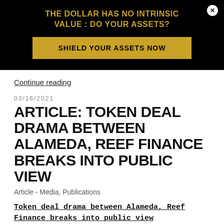[Figure (other): Advertisement banner with black background. Headline in gold: 'THE DOLLAR HAS NO INTRINSIC VALUE : DO YOUR ASSETS?' with a gold button reading 'SHIELD YOUR ASSETS NOW' and a white close button.]
Continue reading
03/16/2021
ARTICLE: TOKEN DEAL DRAMA BETWEEN ALAMEDA, REEF FINANCE BREAKS INTO PUBLIC VIEW
Article - Media, Publications
Token deal drama between Alameda, Reef Finance breaks into public view